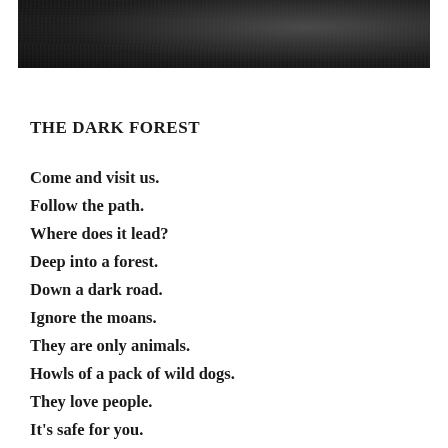[Figure (photo): Dark, moody forest photograph in black and white — dark textured background at top of page]
THE DARK FOREST
Come and visit us.
Follow the path.
Where does it lead?
Deep into a forest.
Down a dark road.
Ignore the moans.
They are only animals.
Howls of a pack of wild dogs.
They love people.
It's safe for you.